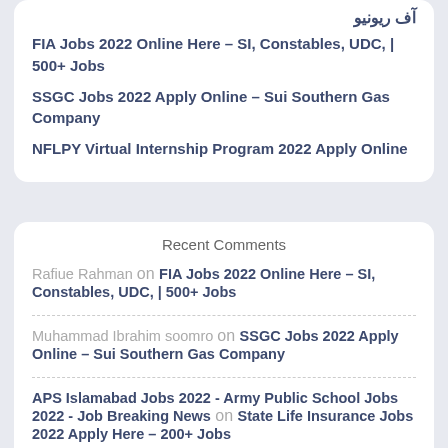آف ریونیو
FIA Jobs 2022 Online Here – SI, Constables, UDC, | 500+ Jobs
SSGC Jobs 2022 Apply Online – Sui Southern Gas Company
NFLPY Virtual Internship Program 2022 Apply Online
Recent Comments
Rafiue Rahman on FIA Jobs 2022 Online Here – SI, Constables, UDC, | 500+ Jobs
Muhammad Ibrahim soomro on SSGC Jobs 2022 Apply Online – Sui Southern Gas Company
APS Islamabad Jobs 2022 - Army Public School Jobs 2022 - Job Breaking News on State Life Insurance Jobs 2022 Apply Here – 200+ Jobs
APS Islamabad Jobs 2022 – Army Public School Jobs 2022 GetNowJob | Get Now Job on State Life